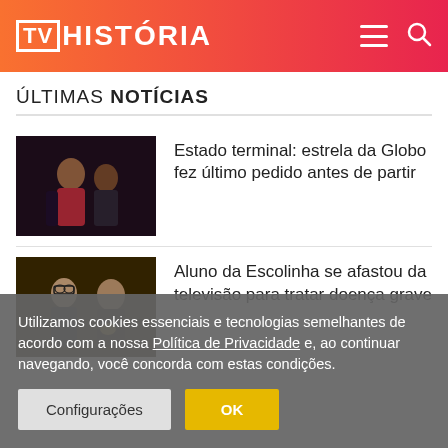[TV] HISTÓRIA
ÚLTIMAS NOTÍCIAS
[Figure (photo): Thumbnail image for news article 1: people in dramatic scene]
Estado terminal: estrela da Globo fez último pedido antes de partir
[Figure (photo): Thumbnail image for news article 2: two men, one with glasses]
Aluno da Escolinha se afastou da televisão para tratar doença grave
Utilizamos cookies essenciais e tecnologias semelhantes de acordo com a nossa Política de Privacidade e, ao continuar navegando, você concorda com estas condições.
Configurações
OK